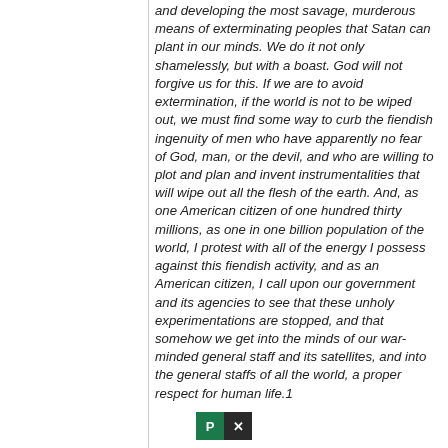and developing the most savage, murderous means of exterminating peoples that Satan can plant in our minds. We do it not only shamelessly, but with a boast. God will not forgive us for this. If we are to avoid extermination, if the world is not to be wiped out, we must find some way to curb the fiendish ingenuity of men who have apparently no fear of God, man, or the devil, and who are willing to plot and plan and invent instrumentalities that will wipe out all the flesh of the earth. And, as one American citizen of one hundred thirty millions, as one in one billion population of the world, I protest with all of the energy I possess against this fiendish activity, and as an American citizen, I call upon our government and its agencies to see that these unholy experimentations are stopped, and that somehow we get into the minds of our war-minded general staff and its satellites, and into the general staffs of all the world, a proper respect for human life.1